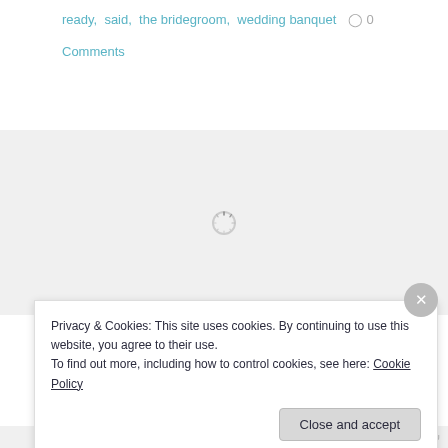ready, said, the bridegroom, wedding banquet  ○ 0
0 Comments
[Figure (screenshot): Gray area with a loading spinner centered in it]
Search ...
Privacy & Cookies: This site uses cookies. By continuing to use this website, you agree to their use.
To find out more, including how to control cookies, see here: Cookie Policy
Close and accept